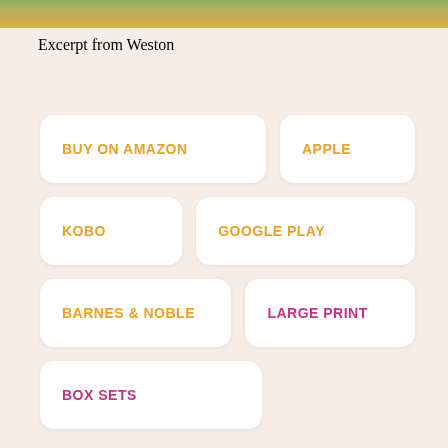Excerpt from Weston
BUY ON AMAZON
APPLE
KOBO
GOOGLE PLAY
BARNES & NOBLE
LARGE PRINT
BOX SETS